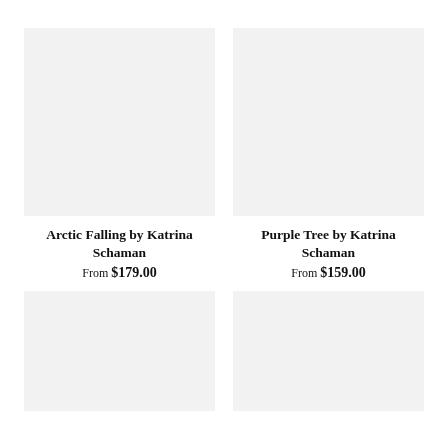[Figure (photo): Product image placeholder for Arctic Falling, light gray rectangle]
Arctic Falling by Katrina Schaman
From $179.00
[Figure (photo): Product image placeholder for Purple Tree, light gray rectangle]
Purple Tree by Katrina Schaman
From $159.00
[Figure (photo): Product image placeholder, light gray rectangle, bottom left]
[Figure (photo): Product image placeholder, light gray rectangle, bottom right]